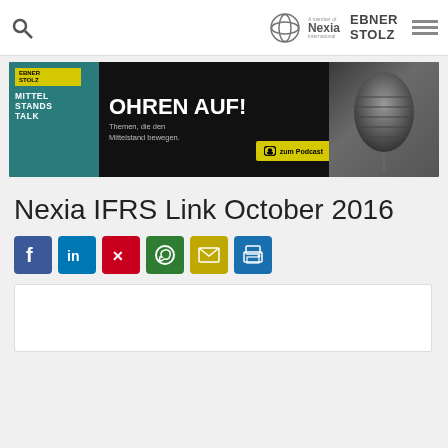Ebner Stolz – A member of Nexia International – navigation header
[Figure (illustration): Ebner Stolz Mittelstands Talk podcast banner – OHREN AUF! Themen, die den Mittelstand bewegen. zum Podcast – with microphone image]
Nexia IFRS Link October 2016
[Figure (infographic): Social sharing icons row: Facebook, LinkedIn, Xing, WhatsApp, Email, Print]